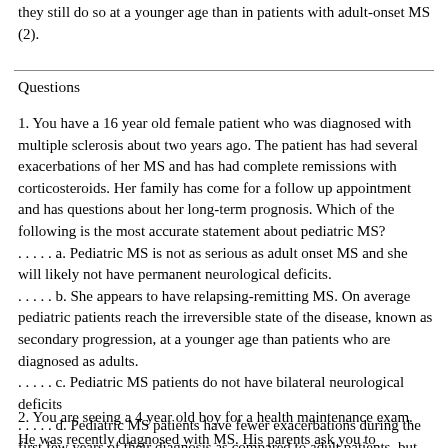they still do so at a younger age than in patients with adult-onset MS (2).
Questions
1. You have a 16 year old female patient who was diagnosed with multiple sclerosis about two years ago. The patient has had several exacerbations of her MS and has had complete remissions with corticosteroids. Her family has come for a follow up appointment and has questions about her long-term prognosis. Which of the following is the most accurate statement about pediatric MS?
. . . . . a. Pediatric MS is not as serious as adult onset MS and she will likely not have permanent neurological deficits.
. . . . . b. She appears to have relapsing-remitting MS. On average pediatric patients reach the irreversible state of the disease, known as secondary progression, at a younger age than patients who are diagnosed as adults.
. . . . . c. Pediatric MS patients do not have bilateral neurological deficits
. . . . . d. Pediatric MS patients have fewer exacerbations during the first few years of their diagnosis as compared to adult patients, but they have less than complete responses to treatment.
2. You are seeing a 4 year old boy for a health maintenance exam. He was recently diagnosed with MS. His parents ask you to